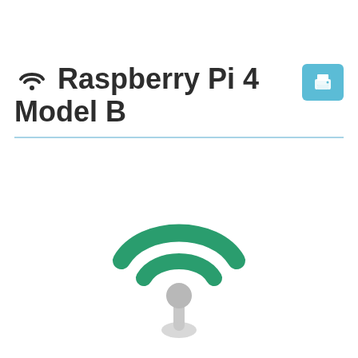Raspberry Pi 4 Model B
[Figure (illustration): Large green WiFi signal icon with a grey antenna/base below it, centered on the page]